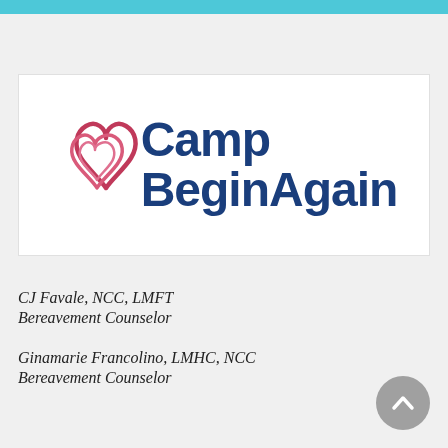[Figure (logo): Camp BeginAgain logo with two intertwined hearts in pink/red outline and bold dark blue text reading Camp BeginAgain]
CJ Favale, NCC, LMFT
Bereavement Counselor
Ginamarie Francolino, LMHC, NCC
Bereavement Counselor